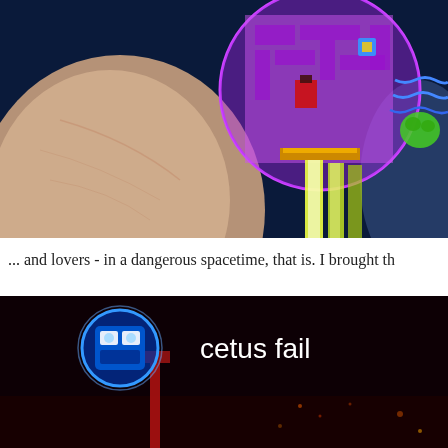[Figure (screenshot): Screenshot of a video game showing a colorful top-down space scene with a large pink/purple circular station, yellow-green laser beams firing downward, and a large beige planet on the left against a dark blue background.]
... and lovers - in a dangerous spacetime, that is. I brought th
[Figure (screenshot): Screenshot of a dark video game scene with a glowing blue robot/character icon on the left labeled 'cetus fail' in white text, against a very dark nearly black background with faint red and orange elements.]